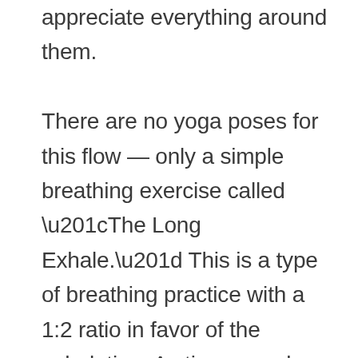appreciate everything around them.

There are no yoga poses for this flow — only a simple breathing exercise called “The Long Exhale.” This is a type of breathing practice with a 1:2 ratio in favor of the exhalation. As time goes by, you can start making the duration of your inhale and exhale longer.